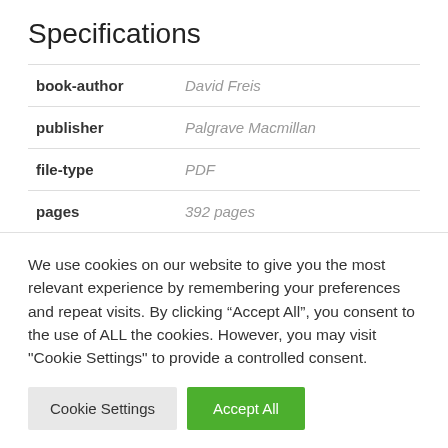Specifications
| book-author | David Freis |
| publisher | Palgrave Macmillan |
| file-type | PDF |
| pages | 392 pages |
We use cookies on our website to give you the most relevant experience by remembering your preferences and repeat visits. By clicking “Accept All”, you consent to the use of ALL the cookies. However, you may visit "Cookie Settings" to provide a controlled consent.
Cookie Settings | Accept All